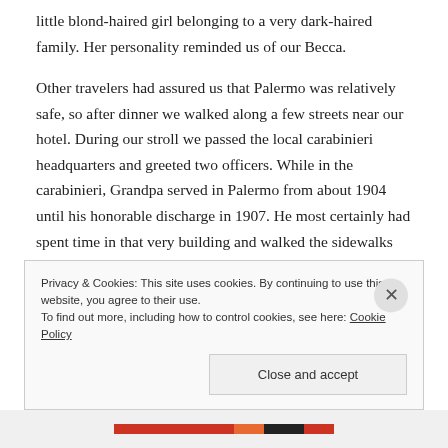little blond-haired girl belonging to a very dark-haired family. Her personality reminded us of our Becca.
Other travelers had assured us that Palermo was relatively safe, so after dinner we walked along a few streets near our hotel. During our stroll we passed the local carabinieri headquarters and greeted two officers. While in the carabinieri, Grandpa served in Palermo from about 1904 until his honorable discharge in 1907. He most certainly had spent time in that very building and walked the sidewalks we were walking.
Privacy & Cookies: This site uses cookies. By continuing to use this website, you agree to their use. To find out more, including how to control cookies, see here: Cookie Policy
Close and accept